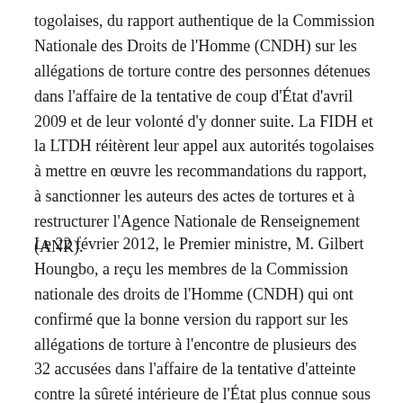togolaises, du rapport authentique de la Commission Nationale des Droits de l'Homme (CNDH) sur les allégations de torture contre des personnes détenues dans l'affaire de la tentative de coup d'État d'avril 2009 et de leur volonté d'y donner suite. La FIDH et la LTDH réitèrent leur appel aux autorités togolaises à mettre en œuvre les recommandations du rapport, à sanctionner les auteurs des actes de tortures et à restructurer l'Agence Nationale de Renseignement (ANR).
Le 22 février 2012, le Premier ministre, M. Gilbert Houngbo, a reçu les membres de la Commission nationale des droits de l'Homme (CNDH) qui ont confirmé que la bonne version du rapport sur les allégations de torture à l'encontre de plusieurs des 32 accusées dans l'affaire de la tentative d'atteinte contre la sûreté intérieure de l'État plus connue sous le nom de la «